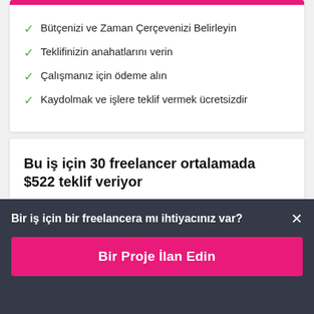Bütçenizi ve Zaman Çerçevenizi Belirleyin
Teklifinizin anahatlarını verin
Çalışmanız için ödeme alın
Kaydolmak ve işlere teklif vermek ücretsizdir
Bu iş için 30 freelancer ortalamada $522 teklif veriyor
Bir iş için bir freelancera mı ihtiyacınız var?
Bir Proje İlan Edin